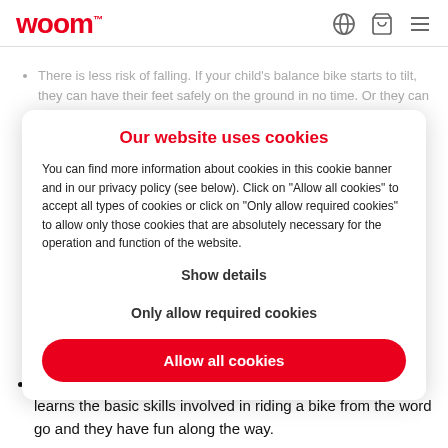woom™
There is less risk of falling. If your child's balance bike starts to tilt, they can have their feet safely on the ground in no time. Or they can shift their weight to get back on track before it's too late. These children can balance a lot better than children on a standard bike with stabilisers, because shifting their weight won't affect the positioning, so the bike quickly loses contact with the ground if it's uneven or bumpy. If your child does happen to fall off their balance bike, the relatively low speed and height mean that they will generally escape largely unscathed.
Our website uses cookies
You can find more information about cookies in this cookie banner and in our privacy policy (see below). Click on "Allow all cookies" to accept all types of cookies or click on "Only allow required cookies" to allow only those cookies that are absolutely necessary for the operation and function of the website.
Show details
Only allow required cookies
Allow all cookies
Balance: One of the major advantages is that your child learns the basic skills involved in riding a bike from the word go and they have fun along the way.